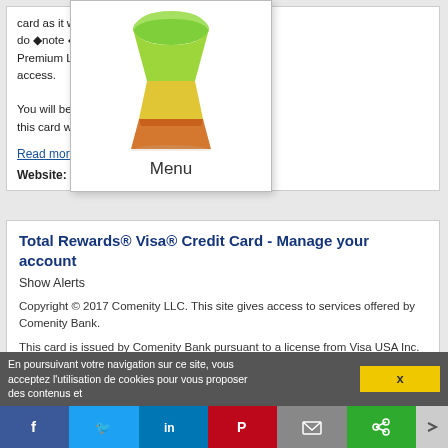card as it will pr... changes. However, do  note  you ne Plaza Premium Lounge oy unlimited access.
You will be please you collect with this card will neve...
Read more
[Figure (illustration): Colorful cone/stack illustration (green, yellow, orange/red) used as menu icon]
Menu
Website: https://www.comparehero.my
Total Rewards® Visa® Credit Card - Manage your account
Show Alerts
Copyright © 2017 Comenity LLC. This site gives access to services offered by Comenity Bank.
This card is issued by Comenity Bank pursuant to a license from Visa USA Inc. VISA is a registered trademark of Visa International Service Association and used under license. 1
En poursuivant votre navigation sur ce site, vous acceptez l'utilisation de cookies pour vous proposer des contenus et
x